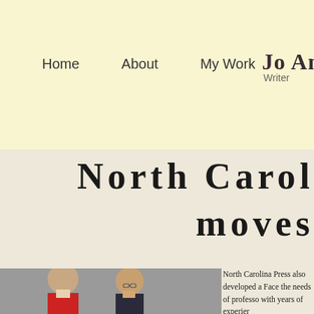Home   About   My Work   Jo An  Writer
North Caroli  moves
[Figure (photo): Two women standing together, one wearing red, one wearing dark jacket with glasses, grey background]
North Carolina Press also developed a Face the needs of professo with years of experier